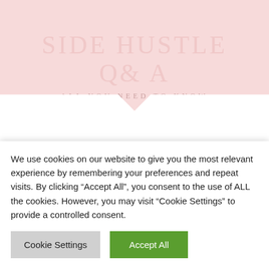SIDE HUSTLE Q& A
ALL YOU NEED TO KNOW
MENU
MARKS AND SPENCER
We use cookies on our website to give you the most relevant experience by remembering your preferences and repeat visits. By clicking “Accept All”, you consent to the use of ALL the cookies. However, you may visit “Cookie Settings” to provide a controlled consent.
Cookie Settings
Accept All